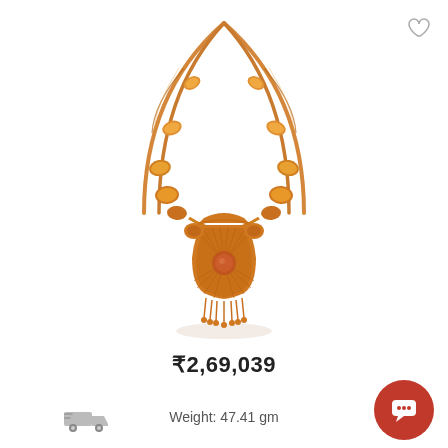[Figure (photo): Gold necklace with ornate pendant featuring a decorative kalash/pot-shaped design with detailed filigree work and beaded fringe, connected by a double chain with gold beads and floral motifs]
₹2,69,039
Weight: 47.41 gm